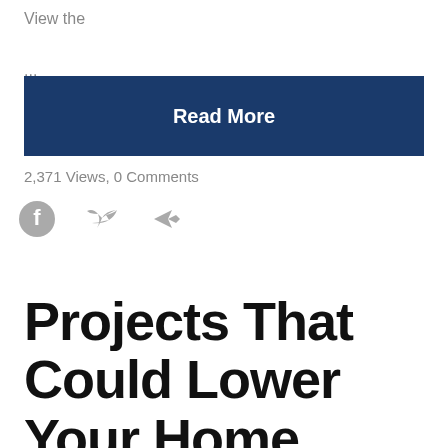View the
...
Read More
2,371 Views, 0 Comments
[Figure (illustration): Social media sharing icons: Facebook, Twitter, and share arrow icons in gray]
Projects That Could Lower Your Home